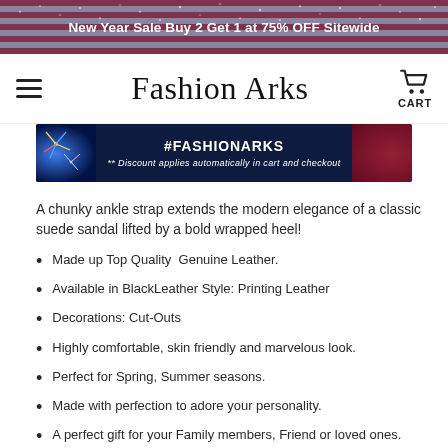New Year Sale Buy 2 Get 1 at 75% OFF Sitewide
Fashion Arks
[Figure (screenshot): Promotional banner showing fireworks and '#FASHIONARKS' text with a Santa Claus figure, on a dark navy background. Subtitle: '** Discount applies automatically in cart and checkout']
A chunky ankle strap extends the modern elegance of a classic suede sandal lifted by a bold wrapped heel!
Made up Top Quality Genuine Leather.
Available in BlackLeather Style: Printing Leather
Decorations: Cut-Outs
Highly comfortable, skin friendly and marvelous look.
Perfect for Spring, Summer seasons.
Made with perfection to adore your personality.
A perfect gift for your Family members, Friend or loved ones.